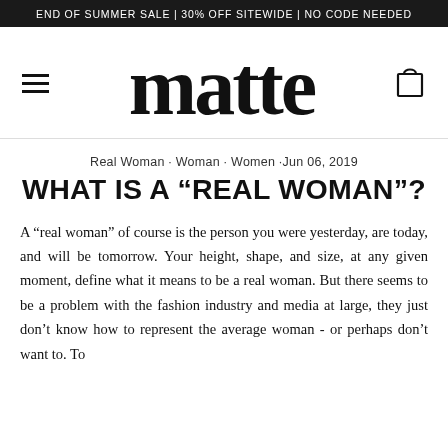END OF SUMMER SALE | 30% OFF SITEWIDE | NO CODE NEEDED
[Figure (logo): Matte brand logo in cursive/script font, with hamburger menu icon on left and shopping bag icon on right]
Real Woman · Woman · Women ·Jun 06, 2019
WHAT IS A “REAL WOMAN”?
A “real woman” of course is the person you were yesterday, are today, and will be tomorrow. Your height, shape, and size, at any given moment, define what it means to be a real woman. But there seems to be a problem with the fashion industry and media at large, they just don’t know how to represent the average woman - or perhaps don’t want to. To